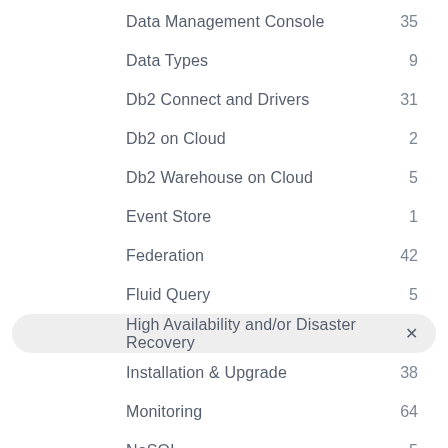Data Management Console  35
Data Types  9
Db2 Connect and Drivers  31
Db2 on Cloud  2
Db2 Warehouse on Cloud  5
Event Store  1
Federation  42
Fluid Query  5
High Availability and/or Disaster Recovery  ×
Installation & Upgrade  38
Monitoring  64
NoSQL  5
Operating System/Virtualization  19
Other/Unknown  47